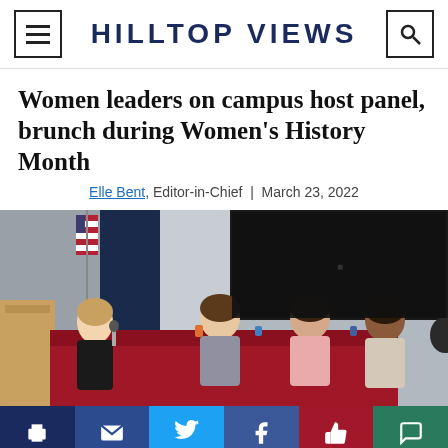HILLTOP VIEWS
Women leaders on campus host panel, brunch during Women's History Month
Elle Bent, Editor-in-Chief | March 23, 2022
[Figure (photo): Four women seated at a red-draped panel table in an auditorium, with an American flag and dark curtain backdrop and a large screen visible in the background.]
Print | Email | Twitter | Facebook | Like | Comment